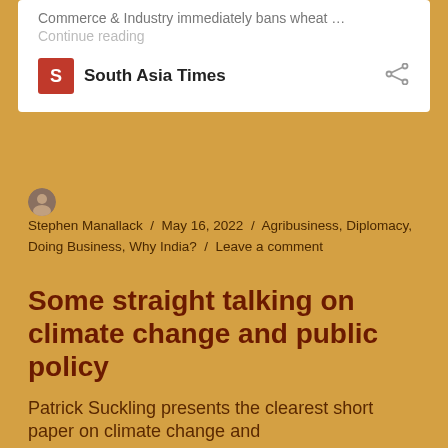Commerce & Industry immediately bans wheat …
Continue reading
[Figure (logo): South Asia Times logo: red square with white S letter]
South Asia Times
Stephen Manallack / May 16, 2022 / Agribusiness, Diplomacy, Doing Business, Why India? / Leave a comment
Some straight talking on climate change and public policy
Patrick Suckling presents the clearest short paper on climate change and…